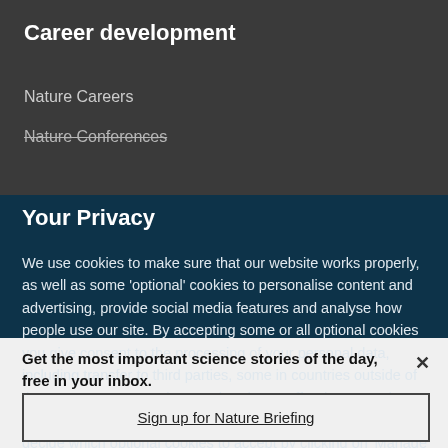Career development
Nature Careers
Nature Conferences
Your Privacy
We use cookies to make sure that our website works properly, as well as some 'optional' cookies to personalise content and advertising, provide social media features and analyse how people use our site. By accepting some or all optional cookies you give consent to the processing of your personal data, including transfer to third parties, some in countries outside of the European Economic Area that do not offer the same data protection standards as the country where you live. You can decide which optional cookies to accept by clicking on 'Manage Settings', where you can
Get the most important science stories of the day, free in your inbox.
Sign up for Nature Briefing